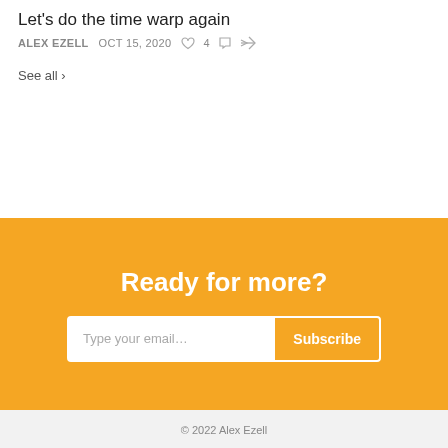Let's do the time warp again
ALEX EZELL  OCT 15, 2020  ♥ 4
See all ›
Ready for more?
Type your email…  Subscribe
© 2022 Alex Ezell